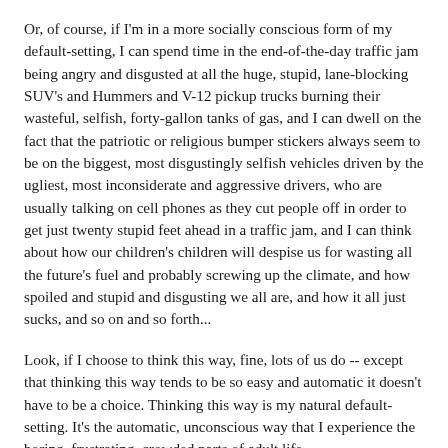Or, of course, if I'm in a more socially conscious form of my default-setting, I can spend time in the end-of-the-day traffic jam being angry and disgusted at all the huge, stupid, lane-blocking SUV's and Hummers and V-12 pickup trucks burning their wasteful, selfish, forty-gallon tanks of gas, and I can dwell on the fact that the patriotic or religious bumper stickers always seem to be on the biggest, most disgustingly selfish vehicles driven by the ugliest, most inconsiderate and aggressive drivers, who are usually talking on cell phones as they cut people off in order to get just twenty stupid feet ahead in a traffic jam, and I can think about how our children's children will despise us for wasting all the future's fuel and probably screwing up the climate, and how spoiled and stupid and disgusting we all are, and how it all just sucks, and so on and so forth...
Look, if I choose to think this way, fine, lots of us do -- except that thinking this way tends to be so easy and automatic it doesn't have to be a choice. Thinking this way is my natural default-setting. It's the automatic, unconscious way that I experience the boring, frustrating, crowded parts of adult life